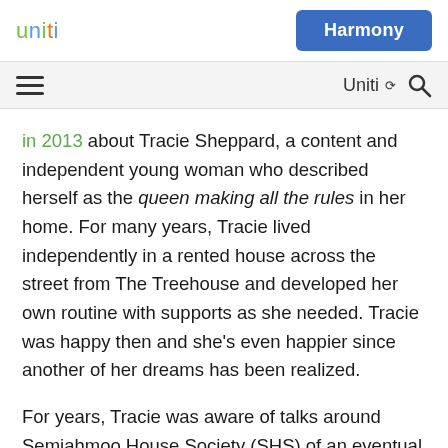uniti  Harmony
≡  Uniti ∨ 🔍
in 2013 about Tracie Sheppard, a content and independent young woman who described herself as the queen making all the rules in her home. For many years, Tracie lived independently in a rented house across the street from The Treehouse and developed her own routine with supports as she needed. Tracie was happy then and she's even happier since another of her dreams has been realized.
For years, Tracie was aware of talks around Semiahmoo House Society (SHS) of an eventual housing option that would bring together people with developmental disabilities and other